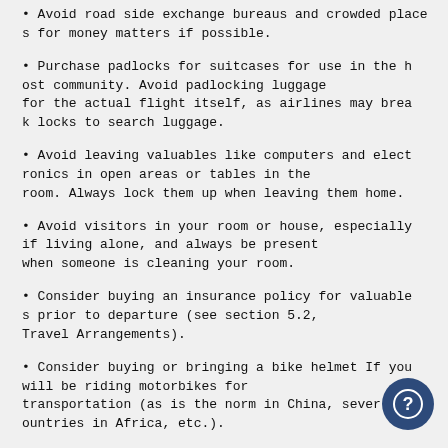Avoid road side exchange bureaus and crowded places for money matters if possible.
Purchase padlocks for suitcases for use in the host community. Avoid padlocking luggage for the actual flight itself, as airlines may break locks to search luggage.
Avoid leaving valuables like computers and electronics in open areas or tables in the room. Always lock them up when leaving them home.
Avoid visitors in your room or house, especially if living alone, and always be present when someone is cleaning your room.
Consider buying an insurance policy for valuables prior to departure (see section 5.2, Travel Arrangements).
Consider buying or bringing a bike helmet If you will be riding motorbikes for transportation (as is the norm in China, several countries in Africa, etc.).